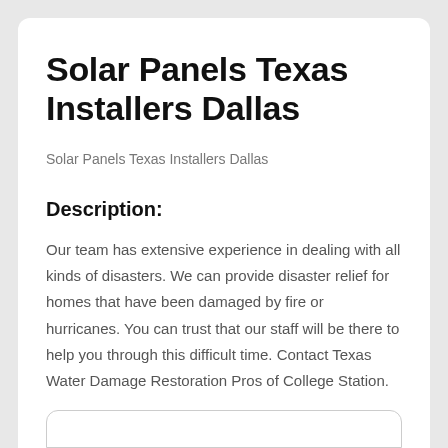Solar Panels Texas Installers Dallas
Solar Panels Texas Installers Dallas
Description:
Our team has extensive experience in dealing with all kinds of disasters. We can provide disaster relief for homes that have been damaged by fire or hurricanes. You can trust that our staff will be there to help you through this difficult time. Contact Texas Water Damage Restoration Pros of College Station.